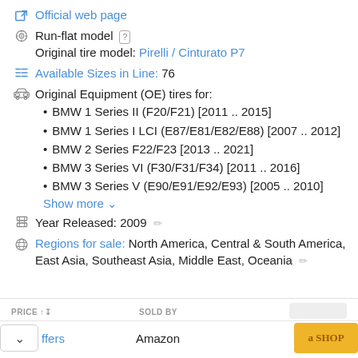Official web page
Run-flat model [?]
Original tire model: Pirelli / Cinturato P7
Available Sizes in Line: 76
Original Equipment (OE) tires for:
BMW 1 Series II (F20/F21) [2011 .. 2015]
BMW 1 Series I LCI (E87/E81/E82/E88) [2007 .. 2012]
BMW 2 Series F22/F23 [2013 .. 2021]
BMW 3 Series VI (F30/F31/F34) [2011 .. 2016]
BMW 3 Series V (E90/E91/E92/E93) [2005 .. 2010]
Show more
Year Released: 2009
Regions for sale: North America, Central & South America, East Asia, Southeast Asia, Middle East, Oceania
PRICE   SOLD BY
offers   Amazon   a SHOP